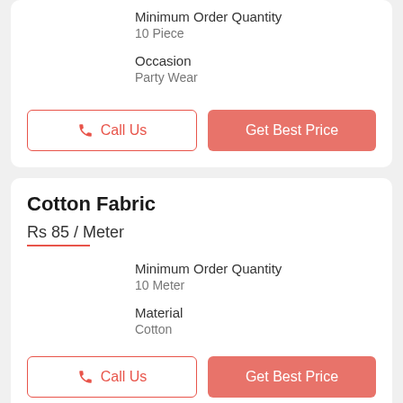Minimum Order Quantity
10 Piece
Occasion
Party Wear
Call Us
Get Best Price
Cotton Fabric
Rs 85 / Meter
Minimum Order Quantity
10 Meter
Material
Cotton
Call Us
Get Best Price